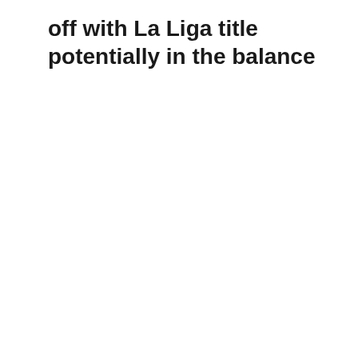off with La Liga title potentially in the balance